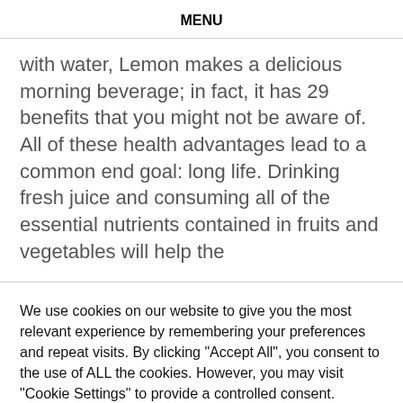MENU
with water, Lemon makes a delicious morning beverage; in fact, it has 29 benefits that you might not be aware of. All of these health advantages lead to a common end goal: long life. Drinking fresh juice and consuming all of the essential nutrients contained in fruits and vegetables will help the
We use cookies on our website to give you the most relevant experience by remembering your preferences and repeat visits. By clicking "Accept All", you consent to the use of ALL the cookies. However, you may visit "Cookie Settings" to provide a controlled consent.
Cookie Settings   Accept All